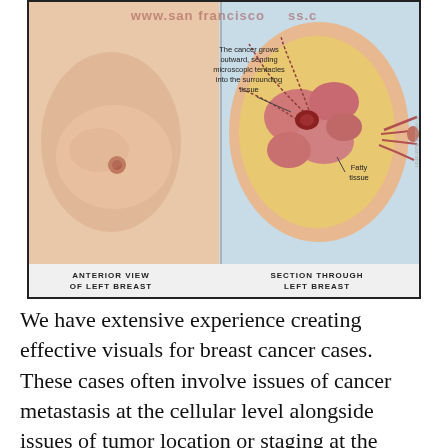[Figure (illustration): Medical illustration showing anterior view of left breast (external view with nipple) on the left side, and a section through left breast (cross-sectional anatomy showing fatty tissue and cancer spreading outward with microscopic tentacles into surrounding tissue) on the right side. Labels include: 'The cancer grows outward, sending microscopic tentacles into the surrounding tissue', 'Fatty tissue', 'ANTERIOR VIEW OF LEFT BREAST', 'SECTION THROUGH LEFT BREAST'. A watermark reads 'www.sanfrancisco.com' across the top.]
We have extensive experience creating effective visuals for breast cancer cases. These cases often involve issues of cancer metastasis at the cellular level alongside issues of tumor location or staging at the macro level. Our visual strategies help attorneys clearly explain this multilevel medicine to the jury. Your case will benefit from the strategies we have honed alongside our attorney clients and the years of experience we have creating accurate, successful visualizations in the area of breast